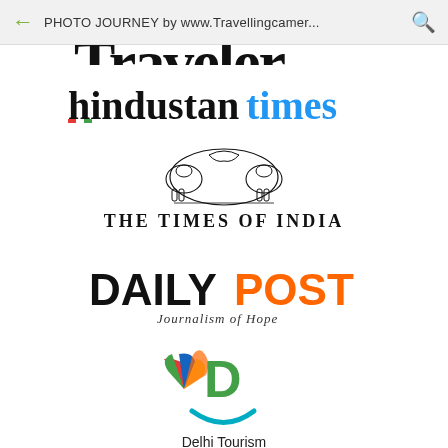PHOTO JOURNEY by www.Travellingcamer...
[Figure (logo): Partial view of 'Traveler' logo text in bold black serif font, cropped at top]
[Figure (logo): Hindustan Times logo: 'hindustan' in black bold serif, 'times' in blue bold serif]
[Figure (logo): The Times of India logo: decorative emblem with elephants above text 'THE TIMES OF INDIA' in bold serif capitals]
[Figure (logo): Daily Post logo: 'DAILY' in bold black, 'POST' in bold orange, subtitle 'Journalism of Hope' in italic]
[Figure (logo): Delhi Tourism logo: NBC-style peacock fan icon in colors beside a green 'D', with a teal curved line below and text 'Delhi Tourism']